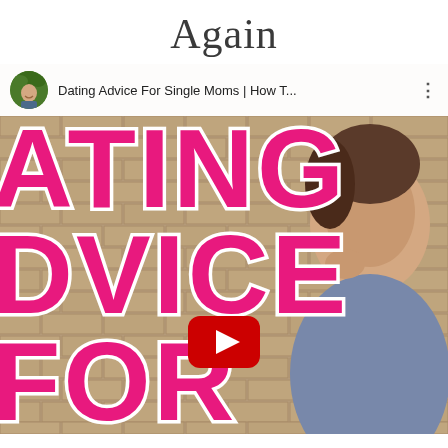Again
[Figure (screenshot): YouTube video thumbnail screenshot showing 'Dating Advice For Single Moms | How T...' with large pink bubble-letter text reading 'DATING ADVICE FOR...' overlaid on a brick wall background with a person visible on the right side. A YouTube play button is visible in the lower center.]